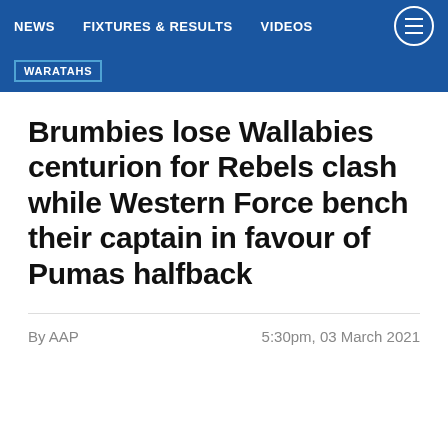NEWS   FIXTURES & RESULTS   VIDEOS
WARATAHS
Brumbies lose Wallabies centurion for Rebels clash while Western Force bench their captain in favour of Pumas halfback
By AAP   5:30pm, 03 March 2021